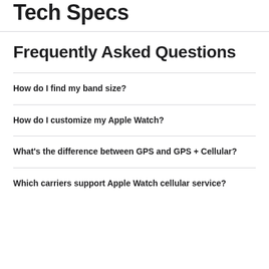Tech Specs
Frequently Asked Questions
How do I find my band size?
How do I customize my Apple Watch?
What's the difference between GPS and GPS + Cellular?
Which carriers support Apple Watch cellular service?